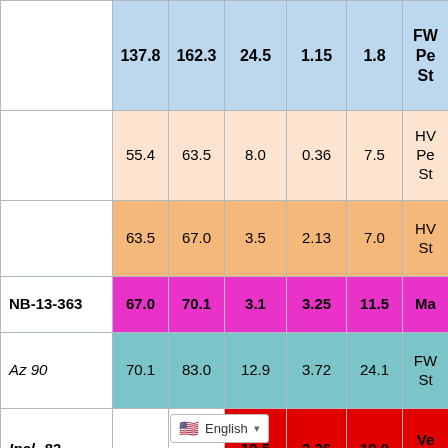|  | 137.8 | 162.3 | 24.5 | 1.15 | 1.8 | FW Pe St... |
| --- | --- | --- | --- | --- | --- | --- |
|  | 55.4 | 63.5 | 8.0 | 0.36 | 7.5 | HV Pe St... |
|  | 63.5 | 67.0 | 3.5 | 2.13 | 7.0 | HV St... |
| NB-13-363 | 67.0 | 70.1 | 3.1 | 3.25 | 11.5 | Ma... |
| Az 90 | 70.1 | 83.0 | 12.9 | 3.72 | 24.1 | FW St... |
| Incl -82 |  |  | 19.5 | 3.36 | 19.0 | Ve St... |
|  | 83.0 | 133.3 | 5... |  |  | FW... |